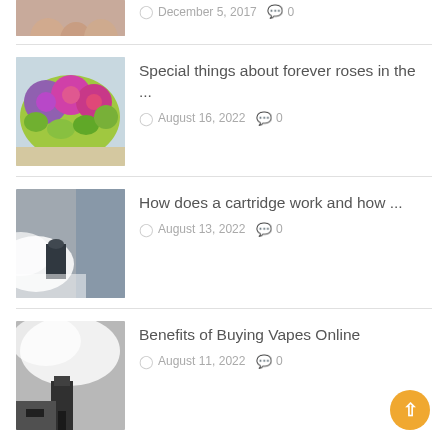[Figure (photo): Partial photo of smiling people (faces cropped at top)]
December 5, 2017  0
[Figure (photo): Colorful flower bouquet with purple and pink roses]
Special things about forever roses in the ...
August 16, 2022  0
[Figure (photo): Person blowing vape smoke/vapor]
How does a cartridge work and how ...
August 13, 2022  0
[Figure (photo): Hands holding vape device with vapor cloud]
Benefits of Buying Vapes Online
August 11, 2022  0